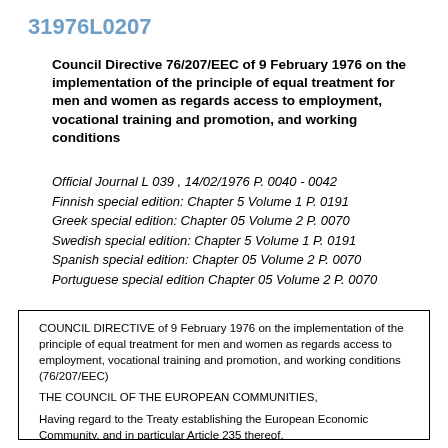31976L0207
Council Directive 76/207/EEC of 9 February 1976 on the implementation of the principle of equal treatment for men and women as regards access to employment, vocational training and promotion, and working conditions
Official Journal L 039 , 14/02/1976 P. 0040 - 0042
Finnish special edition: Chapter 5 Volume 1 P. 0191
Greek special edition: Chapter 05 Volume 2 P. 0070
Swedish special edition: Chapter 5 Volume 1 P. 0191
Spanish special edition: Chapter 05 Volume 2 P. 0070
Portuguese special edition Chapter 05 Volume 2 P. 0070
COUNCIL DIRECTIVE of 9 February 1976 on the implementation of the principle of equal treatment for men and women as regards access to employment, vocational training and promotion, and working conditions (76/207/EEC)

THE COUNCIL OF THE EUROPEAN COMMUNITIES,

Having regard to the Treaty establishing the European Economic Community, and in particular Article 235 thereof,

Having regard to the proposal from the Commission,

Having regard to the opinion of the European Parliament (1),